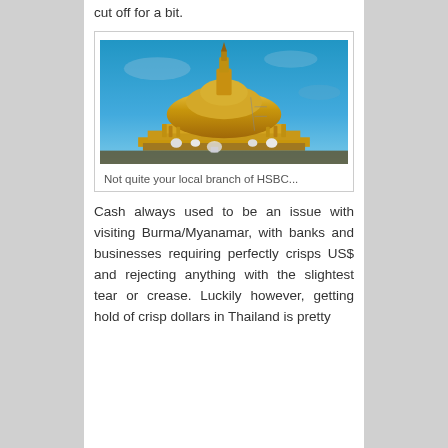cut off for a bit.
[Figure (photo): A golden Buddhist pagoda or stupa under a blue sky, with smaller spires surrounding it and people visible at the base.]
Not quite your local branch of HSBC...
Cash always used to be an issue with visiting Burma/Myanamar, with banks and businesses requiring perfectly crisps US$ and rejecting anything with the slightest tear or crease. Luckily however, getting hold of crisp dollars in Thailand is pretty